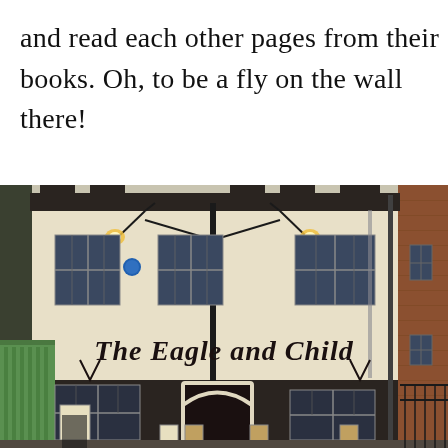and read each other pages from their books. Oh, to be a fly on the wall there!
[Figure (photo): Exterior photograph of The Eagle and Child pub in Oxford, a cream/white painted building with black-framed windows and gothic-script signage reading 'The Eagle and Child' on the facade. Two lamp brackets extend from the upper wall. A green shopfront is visible to the left, and a brick building to the right.]